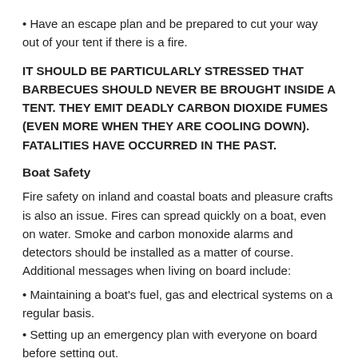• Have an escape plan and be prepared to cut your way out of your tent if there is a fire.
IT SHOULD BE PARTICULARLY STRESSED THAT BARBECUES SHOULD NEVER BE BROUGHT INSIDE A TENT. THEY EMIT DEADLY CARBON DIOXIDE FUMES (EVEN MORE WHEN THEY ARE COOLING DOWN). FATALITIES HAVE OCCURRED IN THE PAST.
Boat Safety
Fire safety on inland and coastal boats and pleasure crafts is also an issue. Fires can spread quickly on a boat, even on water. Smoke and carbon monoxide alarms and detectors should be installed as a matter of course. Additional messages when living on board include:
• Maintaining a boat's fuel, gas and electrical systems on a regular basis.
• Setting up an emergency plan with everyone on board before setting out.